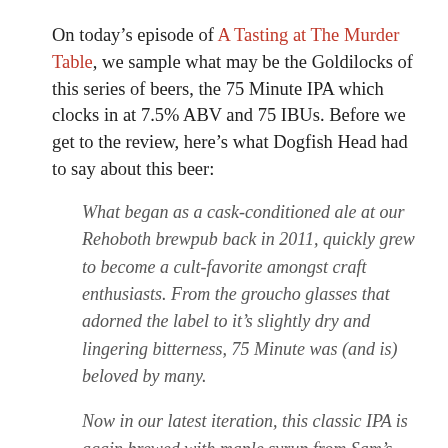On today's episode of A Tasting at The Murder Table, we sample what may be the Goldilocks of this series of beers, the 75 Minute IPA which clocks in at 7.5% ABV and 75 IBUs. Before we get to the review, here's what Dogfish Head had to say about this beer:
What began as a cask-conditioned ale at our Rehoboth brewpub back in 2011, quickly grew to become a cult-favorite amongst craft enthusiasts. From the groucho glasses that adorned the label to it's slightly dry and lingering bitterness, 75 Minute was (and is) beloved by many.
Now in our latest iteration, this classic IPA is again brewed with maple syrup from Sam's family farm in Massachusetts, while being continually hopped throughout the boil, and then